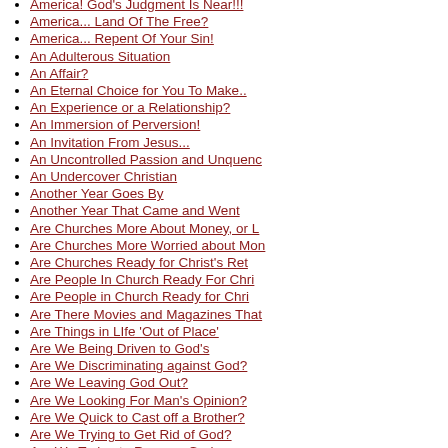America! God's Judgment Is Near!!!
America... Land Of The Free?
America... Repent Of Your Sin!
An Adulterous Situation
An Affair?
An Eternal Choice for You To Make..
An Experience or a Relationship?
An Immersion of Perversion!
An Invitation From Jesus...
An Uncontrolled Passion and Unquenc
An Undercover Christian
Another Year Goes By
Another Year That Came and Went
Are Churches More About Money, or L
Are Churches More Worried about Mon
Are Churches Ready for Christ's Ret
Are People In Church Ready For Chri
Are People in Church Ready for Chri
Are There Movies and Magazines That
Are Things in LIfe 'Out of Place'
Are We Being Driven to God's
Are We Discriminating against God?
Are We Leaving God Out?
Are We Looking For Man's Opinion?
Are We Quick to Cast off a Brother?
Are We Trying to Get Rid of God?
Are We Trying to Remove God
Are You "God -Ophobic"?
Are You "Too Busy" For Me???
Are YOU a Christian?